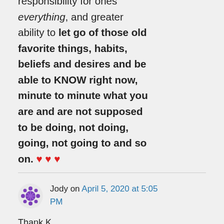responsibility for ones everything, and greater ability to let go of those old favorite things, habits, beliefs and desires and be able to KNOW right now, minute to minute what you are and are not supposed to be doing, not doing, going, not going to and so on. ♥ ♥ ♥
Jody on April 5, 2020 at 5:05 PM
Thank K...